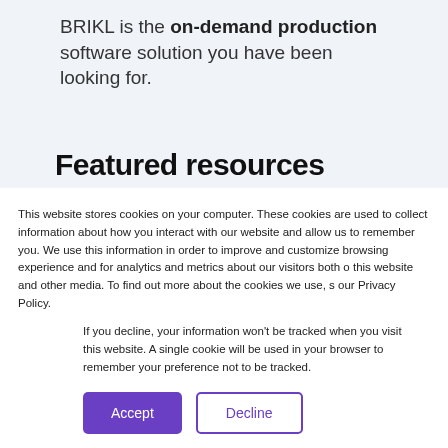BRIKL is the on-demand production software solution you have been looking for.
Featured resources
This website stores cookies on your computer. These cookies are used to collect information about how you interact with our website and allow us to remember you. We use this information in order to improve and customize browsing experience and for analytics and metrics about our visitors both on this website and other media. To find out more about the cookies we use, see our Privacy Policy.
If you decline, your information won't be tracked when you visit this website. A single cookie will be used in your browser to remember your preference not to be tracked.
Accept
Decline